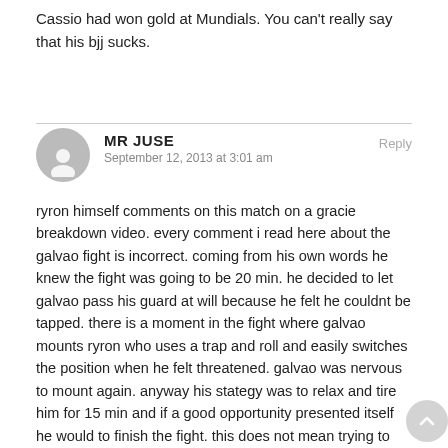Cassio had won gold at Mundials. You can't really say that his bjj sucks.
MR JUSE
September 12, 2013 at 3:01 am
Reply
ryron himself comments on this match on a gracie breakdown video. every comment i read here about the galvao fight is incorrect. coming from his own words he knew the fight was going to be 20 min. he decided to let galvao pass his guard at will because he felt he couldnt be tapped. there is a moment in the fight where galvao mounts ryron who uses a trap and roll and easily switches the position when he felt threatened. galvao was nervous to mount again. anyway his stategy was to relax and tire him for 15 min and if a good opportunity presented itself he would to finish the fight. this does not mean trying to ‘make something happen’ because only 5 mins are left. he is intelligent and took what galvao gave him. its what he teaches and preaches so it makes perfect sense. if it were up to ryron